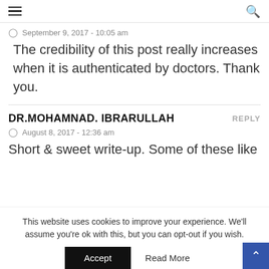≡  🔍
September 9, 2017 - 10:05 am
The credibility of this post really increases when it is authenticated by doctors. Thank you.
DR.MOHAMNAD. IBRARULLAH  REPLY
August 8, 2017 - 12:36 am
Short & sweet write-up. Some of these like
This website uses cookies to improve your experience. We'll assume you're ok with this, but you can opt-out if you wish.  Accept  Read More